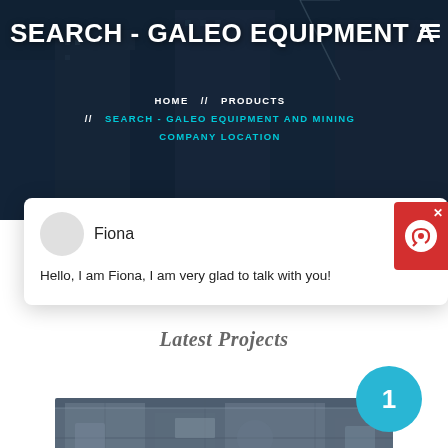SEARCH - GALEO EQUIPMENT A
HOME // PRODUCTS // SEARCH - GALEO EQUIPMENT AND MINING COMPANY LOCATION
Fiona
Hello, I am Fiona, I am very glad to talk with you!
Latest Projects
[Figure (photo): Industrial mining equipment machinery in a facility]
1